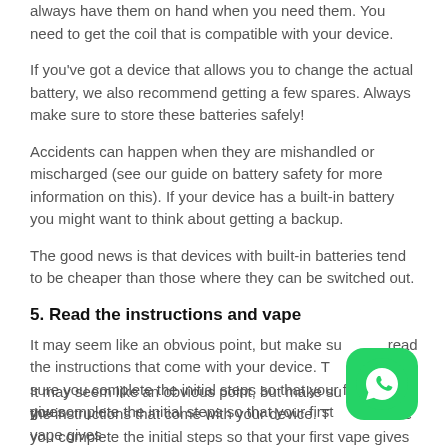always have them on hand when you need them. You need to get the coil that is compatible with your device.
If you've got a device that allows you to change the actual battery, we also recommend getting a few spares. Always make sure to store these batteries safely!
Accidents can happen when they are mishandled or mischarged (see our guide on battery safety for more information on this). If your device has a built-in battery you might want to think about getting a backup.
The good news is that devices with built-in batteries tend to be cheaper than those where they can be switched out.
5. Read the instructions and vape
It may seem like an obvious point, but make sure you read the instructions that come with your device. This makes sure you complete the initial steps so that your first vape gives
[Figure (logo): WhatsApp icon — green rounded square with white phone/speech bubble logo]